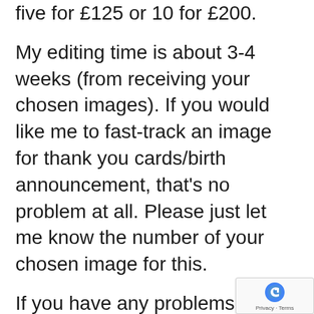five for £125 or 10 for £200.
My editing time is about 3-4 weeks (from receiving your chosen images). If you would like me to fast-track an image for thank you cards/birth announcement, that's no problem at all. Please just let me know the number of your chosen image for this.
If you have any problems, please don't hesitate to ask.
Your gallery is password protected – the password is “xx”. Please feel free to share this with friends and family.